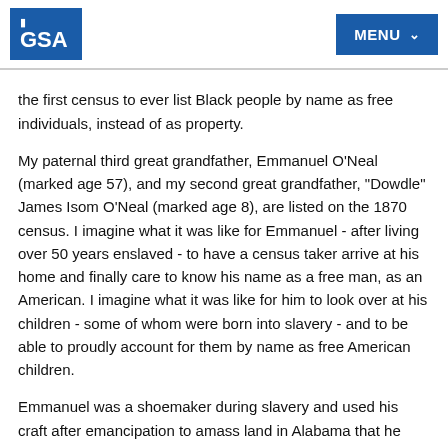GSA | MENU
the first census to ever list Black people by name as free individuals, instead of as property.
My paternal third great grandfather, Emmanuel O'Neal (marked age 57), and my second great grandfather, "Dowdle" James Isom O'Neal (marked age 8), are listed on the 1870 census. I imagine what it was like for Emmanuel - after living over 50 years enslaved - to have a census taker arrive at his home and finally care to know his name as a free man, as an American. I imagine what it was like for him to look over at his children - some of whom were born into slavery - and to be able to proudly account for them by name as free American children.
Emmanuel was a shoemaker during slavery and used his craft after emancipation to amass land in Alabama that he passed onto his sons. James Isom "Dow" O'Neal, a toddler in slavery, grew up to become one of the most significant Black landowners and farmers of his era. His direct descendants